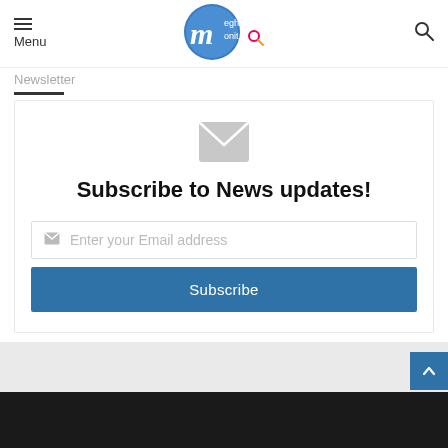Menu | Meghalaya Monitor | Search
Newsletter
Subscribe to News updates!
Enter your Email address
Subscribe